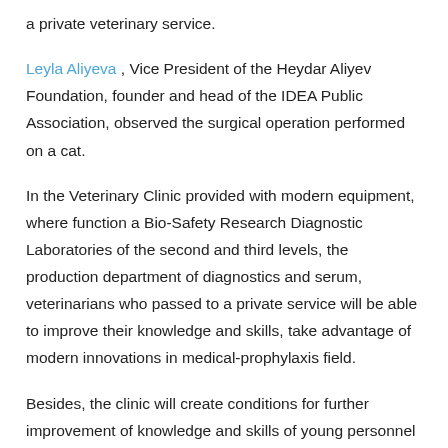a private veterinary service.
Leyla Aliyeva , Vice President of the Heydar Aliyev Foundation, founder and head of the IDEA Public Association, observed the surgical operation performed on a cat.
In the Veterinary Clinic provided with modern equipment, where function a Bio-Safety Research Diagnostic Laboratories of the second and third levels, the production department of diagnostics and serum, veterinarians who passed to a private service will be able to improve their knowledge and skills, take advantage of modern innovations in medical-prophylaxis field.
Besides, the clinic will create conditions for further improvement of knowledge and skills of young personnel – graduates of the